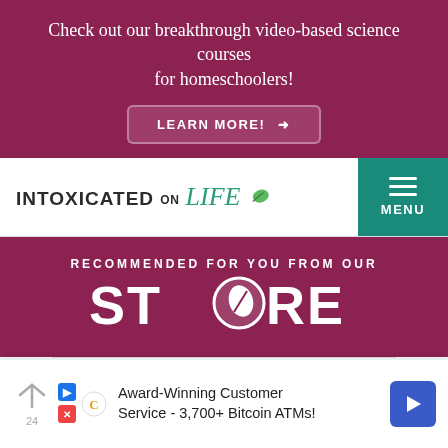Check out our breakthrough video-based science courses for homeschoolers!
LEARN MORE! →
[Figure (logo): Intoxicated on Life logo with leaf icon]
MENU
RECOMMENDED FOR YOU FROM OUR STORE
[Figure (photo): Book product image partially visible at bottom of white card area]
Award-Winning Customer Service - 3,700+ Bitcoin ATMs!